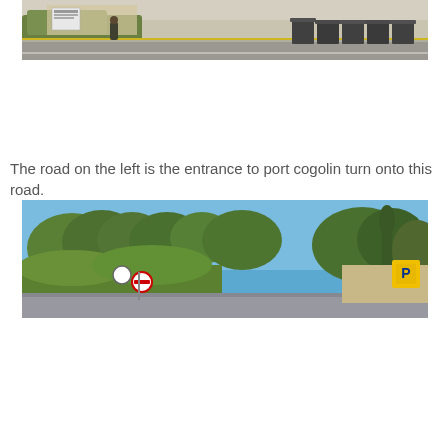[Figure (photo): Street scene showing a road with trash bins on the right side and hedges/buildings in background, sunny day.]
The road on the left is the entrance to port cogolin turn onto this road.
[Figure (photo): Road entrance scene with trees, bushes, road signs, and a parking sign. Blue sky background.]